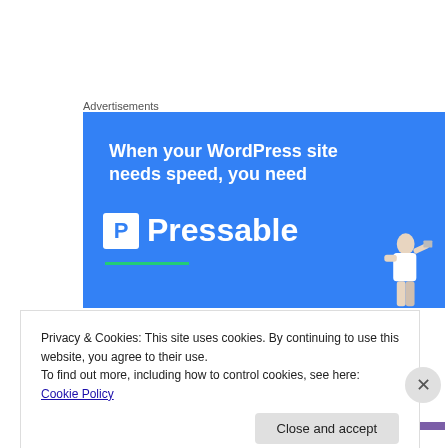Advertisements
[Figure (illustration): Blue advertisement banner for Pressable WordPress hosting. White bold text reads 'When your WordPress site needs speed, you need' followed by the Pressable logo (white P in a box) and the word 'Pressable' in large white letters. A green underline beneath the brand name. A person raising a laptop in the lower right corner of the banner.]
Privacy & Cookies: This site uses cookies. By continuing to use this website, you agree to their use.
To find out more, including how to control cookies, see here: Cookie Policy